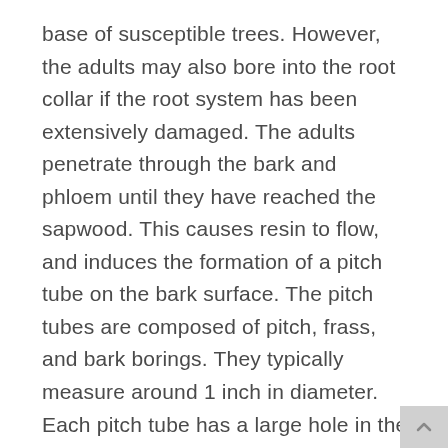base of susceptible trees. However, the adults may also bore into the root collar if the root system has been extensively damaged. The adults penetrate through the bark and phloem until they have reached the sapwood. This causes resin to flow, and induces the formation of a pitch tube on the bark surface. The pitch tubes are composed of pitch, frass, and bark borings. They typically measure around 1 inch in diameter. Each pitch tube has a large hole in the center. The females lay eggs in galleries in the entrance holes of the pitch tubes.